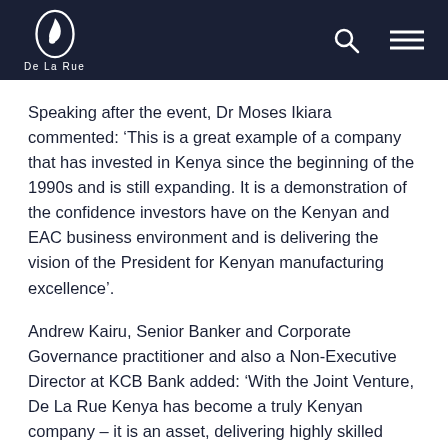De La Rue
Speaking after the event, Dr Moses Ikiara commented: ‘This is a great example of a company that has invested in Kenya since the beginning of the 1990s and is still expanding. It is a demonstration of the confidence investors have on the Kenyan and EAC business environment and is delivering the vision of the President for Kenyan manufacturing excellence’.
Andrew Kairu, Senior Banker and Corporate Governance practitioner and also a Non-Executive Director at KCB Bank added: ‘With the Joint Venture, De La Rue Kenya has become a truly Kenyan company – it is an asset, delivering highly skilled manufacturing jobs for Kenyan people and significant opportunities for growth’
Aly Khan Satchu of Rich Media was struck by the